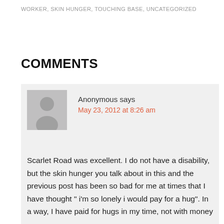WORKER, SKIN HUNGER, TOUCHING BASE, UNCATEGORIZED
COMMENTS
Anonymous says
May 23, 2012 at 8:26 am
Scarlet Road was excellent. I do not have a disability, but the skin hunger you talk about in this and the previous post has been so bad for me at times that I have thought " i'm so lonely i would pay for a hug". In a way, I have paid for hugs in my time, not with money